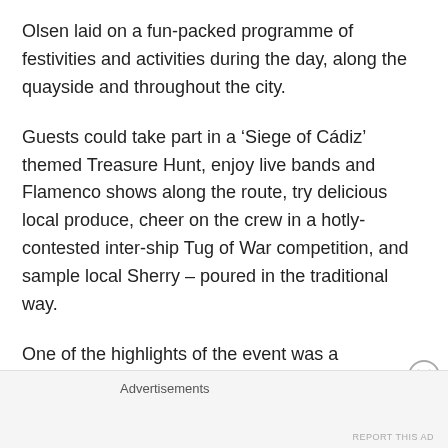Olsen laid on a fun-packed programme of festivities and activities during the day, along the quayside and throughout the city.
Guests could take part in a ‘Siege of Cádiz’ themed Treasure Hunt, enjoy live bands and Flamenco shows along the route, try delicious local produce, cheer on the crew in a hotly-contested inter-ship Tug of War competition, and sample local Sherry – poured in the traditional way.
One of the highlights of the event was a ceremonial Plaque Exchange on stage, attended by all eight Captains, Fred. Olsen Junior, Mike Rodwell, the Mayor of Cádiz,
Advertisements